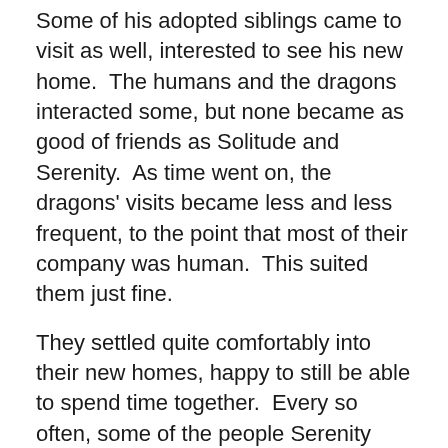Some of his adopted siblings came to visit as well, interested to see his new home.  The humans and the dragons interacted some, but none became as good of friends as Solitude and Serenity.  As time went on, the dragons' visits became less and less frequent, to the point that most of their company was human.  This suited them just fine.
They settled quite comfortably into their new homes, happy to still be able to spend time together.  Every so often, some of the people Serenity grew up with would come and visit her, bearing supplies and news from the village.  Solitude was surprised to find that she too, had grown up an orphan, practically raising herself.  They took turns regaling their guests and each other with stories from their childhood.  Sometimes Serenity would return to the town to visit some of her older friends, and Solitude would use this time to look in on his adopted siblings or explore the woods.  Years